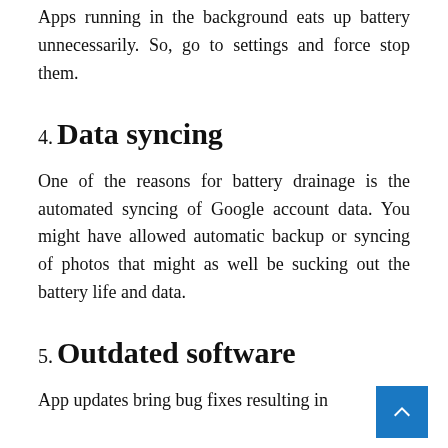Apps running in the background eats up battery unnecessarily. So, go to settings and force stop them.
4. Data syncing
One of the reasons for battery drainage is the automated syncing of Google account data. You might have allowed automatic backup or syncing of photos that might as well be sucking out the battery life and data.
5. Outdated software
App updates bring bug fixes resulting in